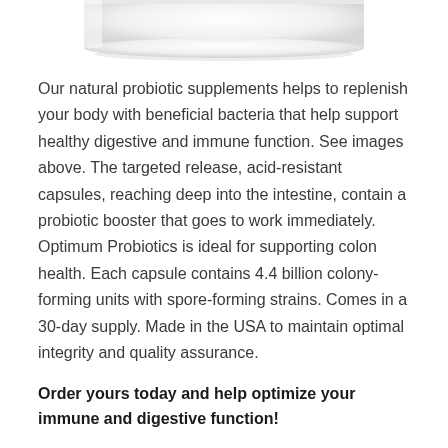[Figure (photo): Partial view of a white pill/capsule product container, showing the bottom rounded edge against a white background.]
Our natural probiotic supplements helps to replenish your body with beneficial bacteria that help support healthy digestive and immune function. See images above. The targeted release, acid-resistant capsules, reaching deep into the intestine, contain a probiotic booster that goes to work immediately. Optimum Probiotics is ideal for supporting colon health. Each capsule contains 4.4 billion colony-forming units with spore-forming strains. Comes in a 30-day supply. Made in the USA to maintain optimal integrity and quality assurance.
Order yours today and help optimize your immune and digestive function!
EFFECTIVE IN SMALL DOSES, WITHIN HOURS. 4.4 Billion CFU*, 4 Strains Reinforced by our Patented